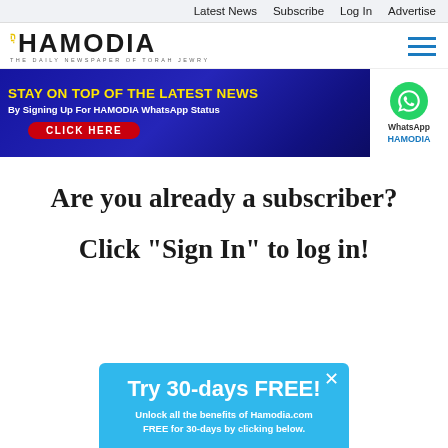Latest News  Subscribe  Log In  Advertise
[Figure (logo): Hamodia logo - THE DAILY NEWSPAPER OF TORAH JEWRY]
[Figure (infographic): Banner: STAY ON TOP OF THE LATEST NEWS By Signing Up For HAMODIA WhatsApp Status CLICK HERE]
Are you already a subscriber?
Click "Sign In" to log in!
[Figure (infographic): Promo box: Try 30-days FREE! Unlock all the benefits of Hamodia.com FREE for 30-days by clicking below.]